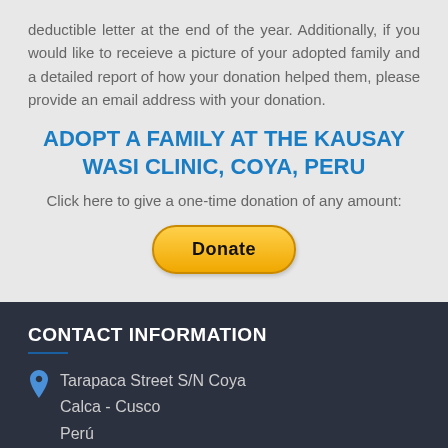deductible letter at the end of the year. Additionally, if you would like to receieve a picture of your adopted family and a detailed report of how your donation helped them, please provide an email address with your donation.
ADOPT A FAMILY AT THE KAUSAY WASI CLINIC, Coya, Peru
Click here to give a one-time donation of any amount:
[Figure (other): Yellow PayPal Donate button with rounded corners]
CONTACT INFORMATION
Tarapaca Street S/N Coya
Calca - Cusco
Perú